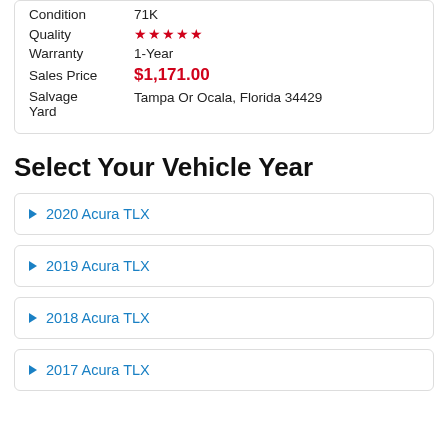| Condition | 71K |
| Quality | ★★★★★ |
| Warranty | 1-Year |
| Sales Price | $1,171.00 |
| Salvage Yard | Tampa Or Ocala, Florida 34429 |
Select Your Vehicle Year
2020 Acura TLX
2019 Acura TLX
2018 Acura TLX
2017 Acura TLX